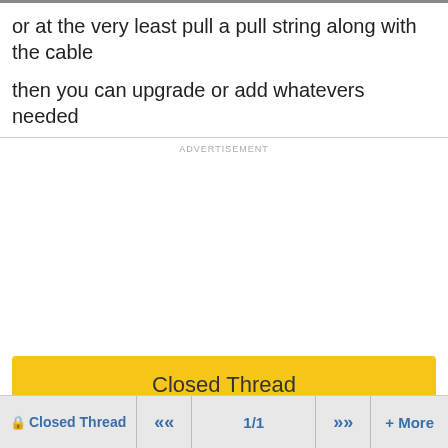or at the very least pull a pull string along with the cable
then you can upgrade or add whatevers needed
ADVERTISEMENT
Closed Thread
🔒Closed Thread  «  1/1  »  + More